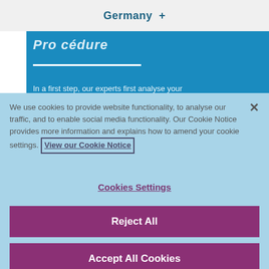Germany  +
[Figure (screenshot): Blue banner section with partial heading text in italic white, a white horizontal rule, and partial body text: 'In a first step, our experts first analyse your']
We use cookies to provide website functionality, to analyse our traffic, and to enable social media functionality. Our Cookie Notice provides more information and explains how to amend your cookie settings. View our Cookie Notice
Cookies Settings
Reject All
Accept All Cookies